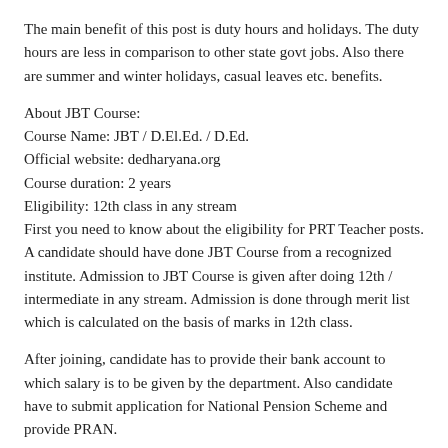The main benefit of this post is duty hours and holidays. The duty hours are less in comparison to other state govt jobs. Also there are summer and winter holidays, casual leaves etc. benefits.
About JBT Course:
Course Name: JBT / D.El.Ed. / D.Ed.
Official website: dedharyana.org
Course duration: 2 years
Eligibility: 12th class in any stream
First you need to know about the eligibility for PRT Teacher posts. A candidate should have done JBT Course from a recognized institute. Admission to JBT Course is given after doing 12th / intermediate in any stream. Admission is done through merit list which is calculated on the basis of marks in 12th class.
After joining, candidate has to provide their bank account to which salary is to be given by the department. Also candidate have to submit application for National Pension Scheme and provide PRAN.